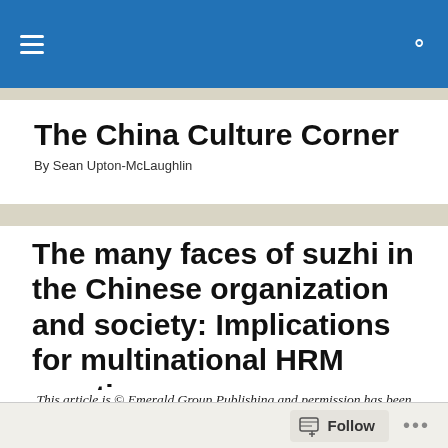The China Culture Corner
By Sean Upton-McLaughlin
The many faces of suzhi in the Chinese organization and society: Implications for multinational HRM practice
This article is © Emerald Group Publishing and permission has been granted for this version to appear here